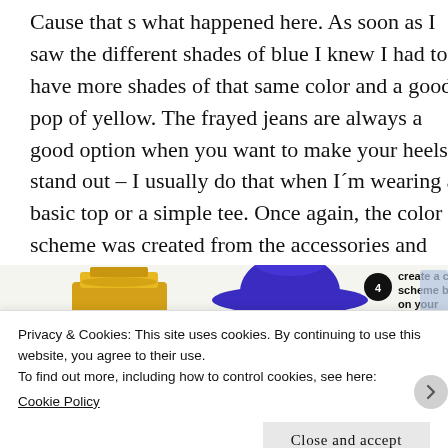Cause that s what happened here. As soon as I saw the different shades of blue I knew I had to have more shades of that same color and a good pop of yellow. The frayed jeans are always a good option when you want to make your heels stand out – I usually do that when I´m wearing a basic top or a simple tee. Once again, the color scheme was created from the accessories and shoes.
[Figure (photo): Fashion items: yellow bucket bag on left, large blue wide-brim hat in center with a circular number badge '4', bold text 'create a color scheme based on your' overlaid on right side, and blue jeans on far right.]
Privacy & Cookies: This site uses cookies. By continuing to use this website, you agree to their use.
To find out more, including how to control cookies, see here:
Cookie Policy
Close and accept